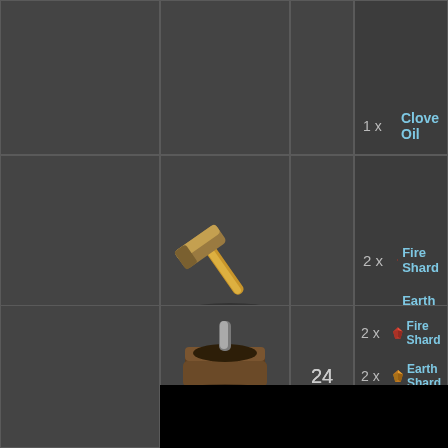[Figure (screenshot): Game crafting interface showing recipe list. Top partial row shows '1x Clove Oil'. Second row shows Initiate's Claw Hammer with ingredients: 2x Fire Shard, 2x Earth Shard. A black loading overlay covers the middle section with a loading spinner circle. Bottom row shows Initiate's Mortar with numbers 24, 24 and ingredients: 2x Fire Shard, 2x Earth Shard, 2x Iron Ingot.]